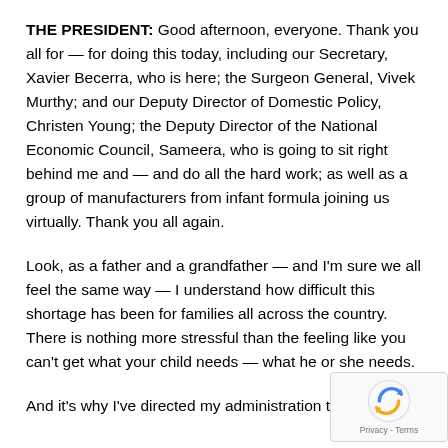THE PRESIDENT:  Good afternoon, everyone.  Thank you all for — for doing this today, including our Secretary, Xavier Becerra, who is here; the Surgeon General, Vivek Murthy; and our Deputy Director of Domestic Policy, Christen Young; the Deputy Director of the National Economic Council, Sameera, who is going to sit right behind me and — and do all the hard work; as well as a group of manufacturers from infant formula joining us virtually.  Thank you all again.
Look, as a father and a grandfather — and I'm sure we all feel the same way — I understand how difficult this shortage has been for families all across the country.  There is nothing more stressful than the feeling like you can't get what your child needs — what he or she needs.
And it's why I've directed my administration to use every tool available to increase the supply [and] get more formula on